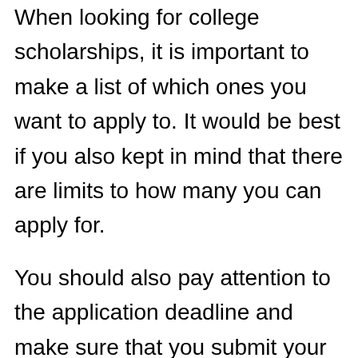When looking for college scholarships, it is important to make a list of which ones you want to apply to. It would be best if you also kept in mind that there are limits to how many you can apply for.
You should also pay attention to the application deadline and make sure that you submit your application on time. If you apply for one of those where you have to write an essay, then plan on having someone proofread your essay to be free of grammar and spelling mistakes.
It is also important to note that the essay